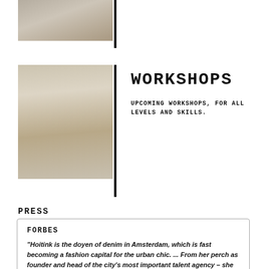[Figure (photo): Partial photo of a room or window at the top of the page]
[Figure (photo): Photo of a person near a doorway or wall, wearing white clothing]
WORKSHOPS
UPCOMING WORKSHOPS, FOR ALL LEVELS AND SKILLS.
PRESS
FORBES
"Hoitink is the doyen of denim in Amsterdam, which is fast becoming a fashion capital for the urban chic. ... From her perch as founder and head of the city's most important talent agency – she finds creative design and business people for the fashion industry's entire supply chain – Hoitink has combined her own talents as a designer with her basic instincts as a businesswoman."